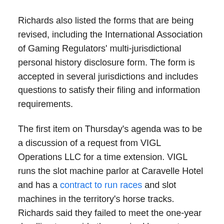Richards also listed the forms that are being revised, including the International Association of Gaming Regulators' multi-jurisdictional personal history disclosure form. The form is accepted in several jurisdictions and includes questions to satisfy their filing and information requirements.
The first item on Thursday's agenda was to be a discussion of a request from VIGL Operations LLC for a time extension. VIGL runs the slot machine parlor at Caravelle Hotel and has a contract to run races and slot machines in the territory's horse tracks. Richards said they failed to meet the one-year deadline to provide the required banquet space at the Caravelle Hotel, specified in the July 2020 permanent license and operating certificate. Because one of the VIGL principles was sick, the commission postponed the item until further notice.